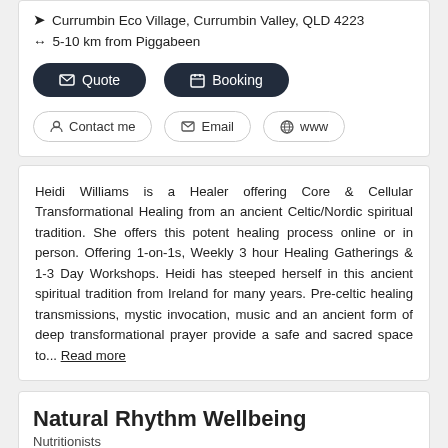📍 Currumbin Eco Village, Currumbin Valley, QLD 4223
↔ 5-10 km from Piggabeen
✉ Quote  📅 Booking
👤 Contact me  ✉ Email  🌐 www
Heidi Williams is a Healer offering Core & Cellular Transformational Healing from an ancient Celtic/Nordic spiritual tradition. She offers this potent healing process online or in person. Offering 1-on-1s, Weekly 3 hour Healing Gatherings & 1-3 Day Workshops. Heidi has steeped herself in this ancient spiritual tradition from Ireland for many years. Pre-celtic healing transmissions, mystic invocation, music and an ancient form of deep transformational prayer provide a safe and sacred space to... Read more
Natural Rhythm Wellbeing
Nutritionists
Natural Rhythm Wellbeing Tugun 1